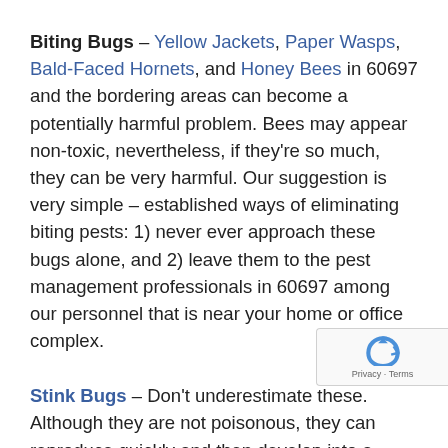Biting Bugs – Yellow Jackets, Paper Wasps, Bald-Faced Hornets, and Honey Bees in 60697 and the bordering areas can become a potentially harmful problem. Bees may appear non-toxic, nevertheless, if they're so much, they can be very harmful. Our suggestion is very simple – established ways of eliminating biting pests: 1) never ever approach these bugs alone, and 2) leave them to the pest management professionals in 60697 among our personnel that is near your home or office complex.
Stink Bugs – Don't underestimate these. Although they are not poisonous, they can reproduce quickly and then develop into a frustrating infestation to address. Property administrators and home renovation organizations regularly call us to help when a